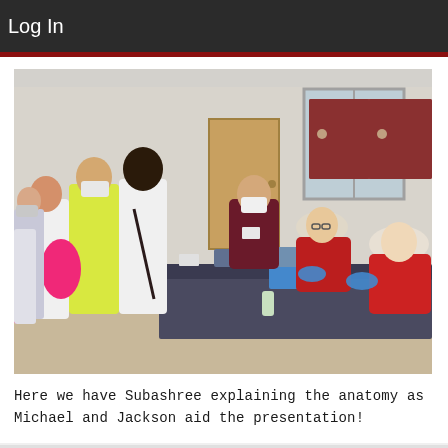Log In
[Figure (photo): Students and instructors in a classroom/lab setting. Several students wearing masks and lab coats are gathered around a laboratory bench. Two individuals in red sweatshirts wearing blue nitrile gloves sit at the bench, while a person in a maroon top and mask stands leaning over explaining something. Students with backpacks and bags observe. The room has reddish-brown cabinets and lab equipment in the background.]
Here we have Subashree explaining the anatomy as Michael and Jackson aid the presentation!